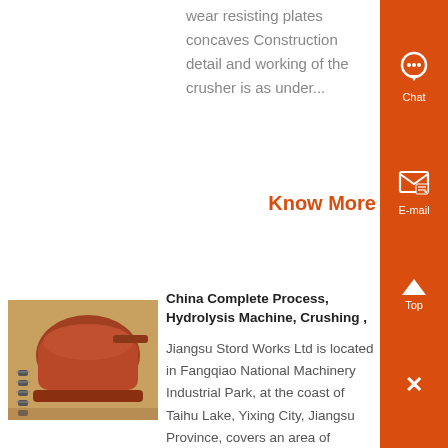wear resisting plates concaves Construction detail and working of the crusher is as under...
Know More
[Figure (photo): Industrial crushing machine with reddish-brown metal body and springs]
China Complete Process, Hydrolysis Machine, Crushing ,
Jiangsu Stord Works Ltd is located in Fangqiao National Machinery Industrial Park, at the coast of Taihu Lake, Yixing City, Jiangsu Province, covers an area of 25000m2 Jiangsu Stord Works Ltd Our company Our company attaches great importance to the introduction